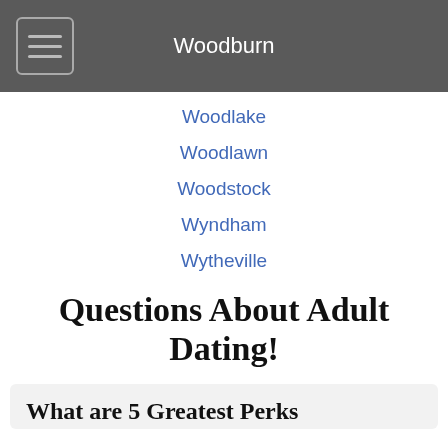Woodburn
Woodlake
Woodlawn
Woodstock
Wyndham
Wytheville
Questions About Adult Dating!
What are 5 Greatest Perks